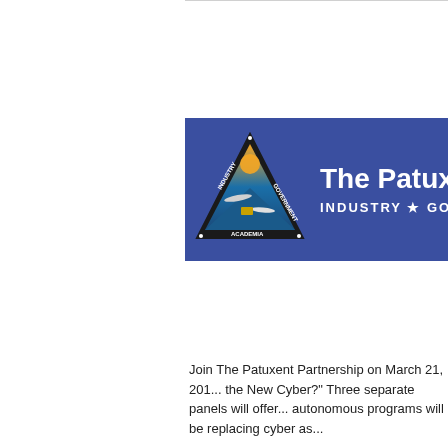[Figure (logo): The Patuxent Partnership logo banner — blue background with a triangular patch showing aircraft, ship, and sun imagery with text INDUSTRY, GOVERNMENT, ACADEMIA around the edges, alongside bold white text reading 'The Patuxen' and 'INDUSTRY ★ GO']
Join The Patuxent Partnership on March 21, 201... the New Cyber?" Three separate panels will offer... autonomous programs will be replacing cyber as...